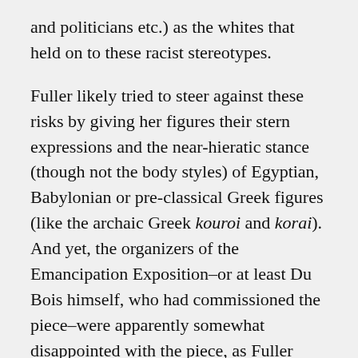and politicians etc.) as the whites that held on to these racist stereotypes.
Fuller likely tried to steer against these risks by giving her figures their stern expressions and the near-hieratic stance (though not the body styles) of Egyptian, Babylonian or pre-classical Greek figures (like the archaic Greek kouroi and korai). And yet, the organizers of the Emancipation Exposition–or at least Du Bois himself, who had commissioned the piece–were apparently somewhat disappointed with the piece, as Fuller recalled later in personal correspondence and in interviews (you can read more about this in Ater's book, where the sculpture and the commission are discussed in